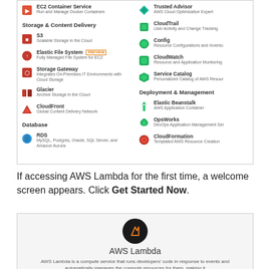[Figure (screenshot): AWS Management Console showing services list including Storage & Content Delivery (S3, Elastic File System, Storage Gateway, Glacier, CloudFront), Database (RDS), and right column showing Trusted Advisor, CloudTrail, Config, CloudWatch, Service Catalog, Deployment & Management (Elastic Beanstalk, OpsWorks, CloudFormation)]
If accessing AWS Lambda for the first time, a welcome screen appears. Click Get Started Now.
[Figure (screenshot): AWS Lambda welcome screen with Lambda logo and text: AWS Lambda is a compute service that runs developers' code in response to events and automatically manages the compute resources for them, making it]